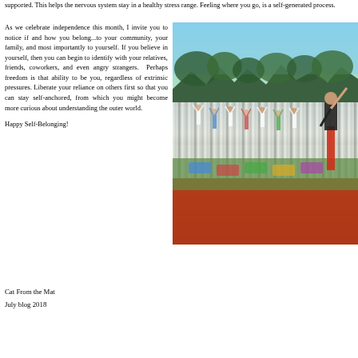supported. This helps the nervous system stay in a healthy stress range. Feeling where you go, is a self-generated process.
As we celebrate independence this month, I invite you to notice if and how you belong...to your community, your family, and most importantly to yourself. If you believe in yourself, then you can begin to identify with your relatives, friends, coworkers, and even angry strangers. Perhaps freedom is that ability to be you, regardless of extrinsic pressures. Liberate your reliance on others first so that you can stay self-anchored, from which you might become more curious about understanding the outer world.
[Figure (photo): Large outdoor group yoga class with many participants on colorful mats raising their arms, led by an instructor in red pants, with trees and sky in background.]
Happy Self-Belonging!
Cat From the Mat
July blog 2018